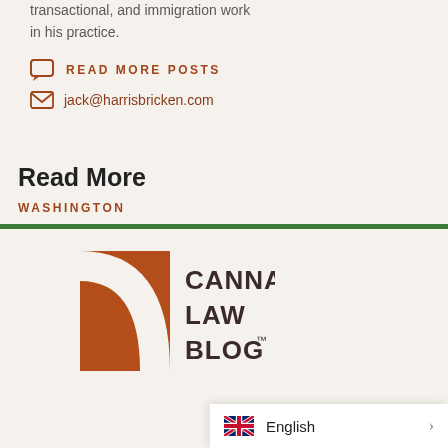transactional, and immigration work in his practice.
READ MORE POSTS
jack@harrisbricken.com
Read More
WASHINGTON
[Figure (logo): Canna Law Blog logo with brown quarter-circle graphic and text]
English